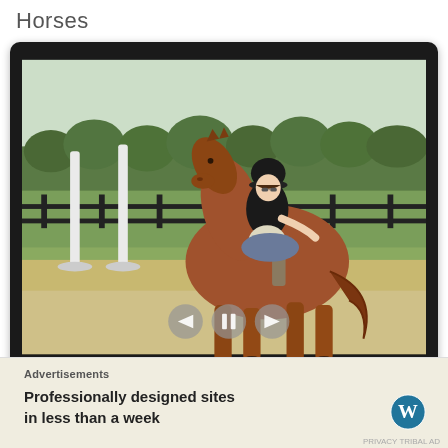Horses
[Figure (photo): A woman in a black shirt and helmet riding a chestnut horse in an equestrian arena with white jump poles and black fencing, with trees in the background. Video player controls (back, pause, forward) are overlaid at the bottom.]
Advertisements
Professionally designed sites in less than a week